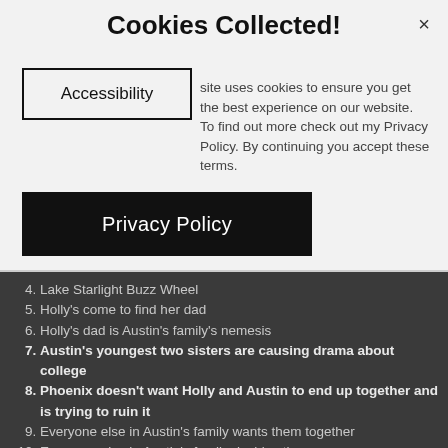Cookies Collected!
Accessibility
This site uses cookies to ensure you get the best experience on our website. To find out more check out my Privacy Policy. By continuing you accept these terms.
Privacy Policy
Lake Starlight Buzz Wheel
Holly's come to find her dad
Holly's dad is Austin's family's nemesis
Austin's youngest two sisters are causing drama about college
Phoenix doesn't want Holly and Austin to end up together and is trying to ruin it
Everyone else in Austin's family wants them together
Everyone else in Austin's family decides they